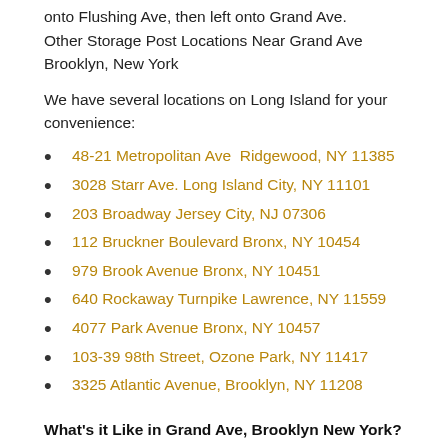onto Flushing Ave, then left onto Grand Ave.
Other Storage Post Locations Near Grand Ave Brooklyn, New York
We have several locations on Long Island for your convenience:
48-21 Metropolitan Ave  Ridgewood, NY 11385
3028 Starr Ave. Long Island City, NY 11101
203 Broadway Jersey City, NJ 07306
112 Bruckner Boulevard Bronx, NY 10454
979 Brook Avenue Bronx, NY 10451
640 Rockaway Turnpike Lawrence, NY 11559
4077 Park Avenue Bronx, NY 10457
103-39 98th Street, Ozone Park, NY 11417
3325 Atlantic Avenue, Brooklyn, NY 11208
What's it Like in Grand Ave, Brooklyn New York?